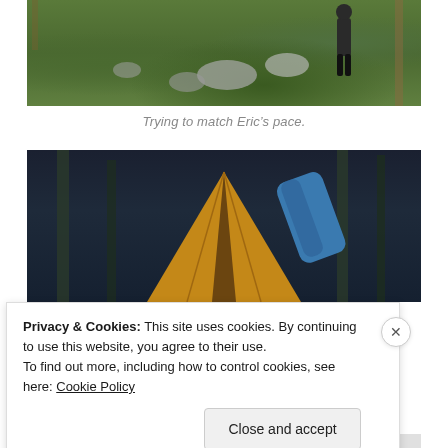[Figure (photo): Person standing on a grassy hillside among rocks and sparse trees, viewed from below]
Trying to match Eric’s pace.
[Figure (photo): A yellow/orange tent peak in foreground against a dark blue-green forest background, with a blue sleeping bag visible to the right]
Privacy & Cookies: This site uses cookies. By continuing to use this website, you agree to their use.
To find out more, including how to control cookies, see here: Cookie Policy
Close and accept